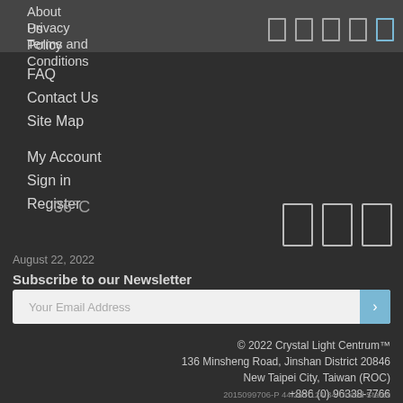About Us
Privacy Policy
Terms and Conditions
FAQ
Contact Us
Site Map
My Account
Sign in
Register
36°C
August 22, 2022
Subscribe to our Newsletter
Your Email Address
© 2022 Crystal Light Centrum™
136 Minsheng Road, Jinshan District 20846
New Taipei City, Taiwan (ROC)
+886 (0) 96338-7766
2015099706-P 44.207.124.84-United States